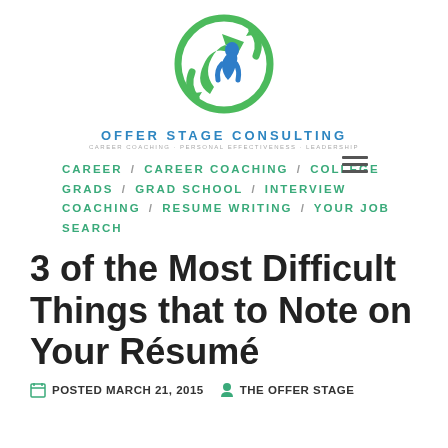[Figure (logo): Offer Stage Consulting logo: green circular arrows with blue figure, green and blue color scheme]
OFFER STAGE CONSULTING
Career / Career Coaching / College Grads / Grad School / Interview Coaching / Resume Writing / Your Job Search
3 of the Most Difficult Things that to Note on Your Résumé
POSTED MARCH 21, 2015   THE OFFER STAGE